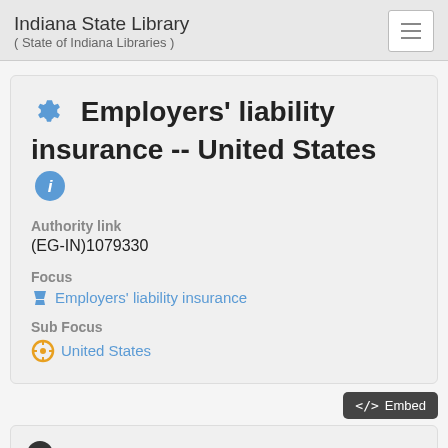Indiana State Library
( State of Indiana Libraries )
Employers' liability insurance -- United States
Authority link
(EG-IN)1079330
Focus
Employers' liability insurance
Sub Focus
United States
7 Items that share the Concept ⚙ Employers' liability insurance -- United States